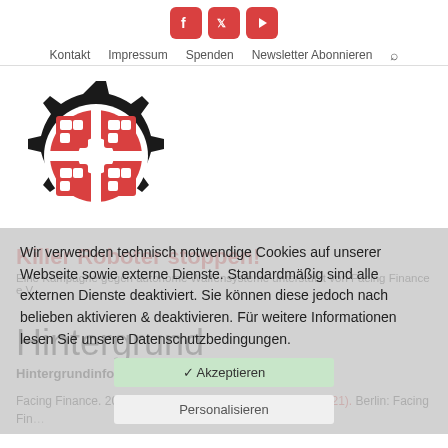Kontakt  Impressum  Spenden  Newsletter Abonnieren
[Figure (logo): Killer Roboter stoppen logo: a black gear with a red crosshair/target symbol inside]
Killer Roboter stoppen!
Eine Kampagne gegen autonome Waffensysteme unterstützt von Facing Finance e.V.
Wir verwenden technisch notwendige Cookies auf unserer Webseite sowie externe Dienste. Standardmäßig sind alle externen Dienste deaktiviert. Sie können diese jedoch nach belieben aktivieren & deaktivieren. Für weitere Informationen lesen Sie unsere Datenschutzbedingungen.
Hintergrund
Hintergrundinformationen von Facing Finance
Facing Finance. 2021. Factsheet: Killer Roboter (August 2021). Berlin: Facing Finance.